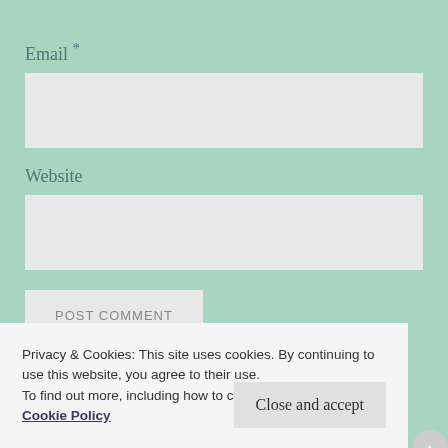Email *
[Figure (other): Empty email input text box]
Website
[Figure (other): Empty website input text box]
POST COMMENT
Privacy & Cookies: This site uses cookies. By continuing to use this website, you agree to their use.
To find out more, including how to control cookies, see here:
Cookie Policy
Close and accept